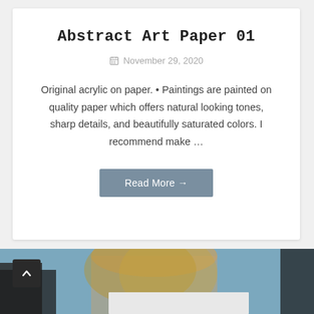Abstract Art Paper 01
November 29, 2020
Original acrylic on paper. • Paintings are painted on quality paper which offers natural looking tones, sharp details, and beautifully saturated colors. I recommend make …
Read More →
[Figure (photo): Partial view of a person with blonde hair holding a white sheet of paper, photographed against a blue background. A back-to-top arrow button is visible in the lower left.]